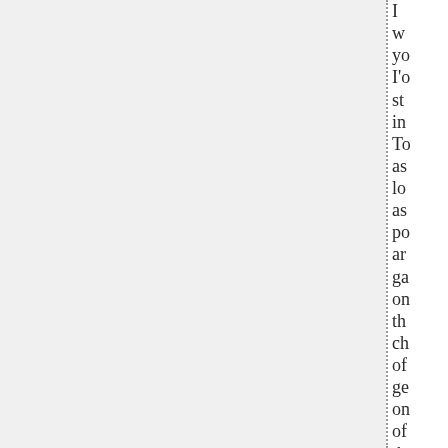[Figure (other): Vertical ruled lines on white background, resembling notebook or ledger paper lines, spanning the center-right portion of the page.]
I w yo I'o st in To as lo as po ar ga on th ch of ge on of th la pl ou of d